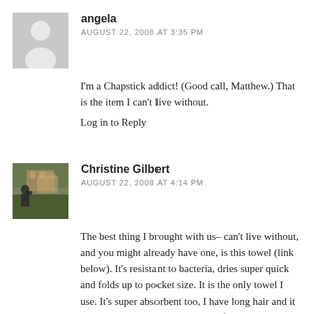angela
AUGUST 22, 2008 AT 3:35 PM
I'm a Chapstick addict! (Good call, Matthew.) That is the item I can't live without.
Log in to Reply
Christine Gilbert
AUGUST 22, 2008 AT 4:14 PM
The best thing I brought with us– can't live without, and you might already have one, is this towel (link below). It's resistant to bacteria, dries super quick and folds up to pocket size. It is the only towel I use. It's super absorbent too, I have long hair and it can even handle drying that too. If I'm traveling I wash it occasionally in the sink, but